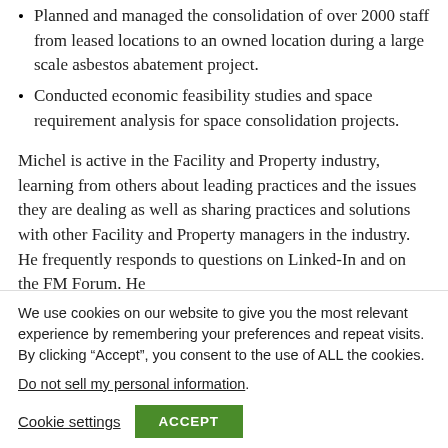Planned and managed the consolidation of over 2000 staff from leased locations to an owned location during a large scale asbestos abatement project.
Conducted economic feasibility studies and space requirement analysis for space consolidation projects.
Michel is active in the Facility and Property industry, learning from others about leading practices and the issues they are dealing as well as sharing practices and solutions with other Facility and Property managers in the industry. He frequently responds to questions on Linked-In and on the FM Forum. He has won several BOMA awards and is involved in developing…
We use cookies on our website to give you the most relevant experience by remembering your preferences and repeat visits. By clicking “Accept”, you consent to the use of ALL the cookies.
Do not sell my personal information.
Cookie settings  ACCEPT